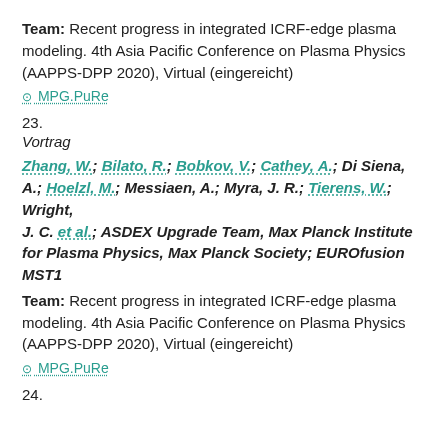Team: Recent progress in integrated ICRF-edge plasma modeling. 4th Asia Pacific Conference on Plasma Physics (AAPPS-DPP 2020), Virtual (eingereicht)
MPG.PuRe
23.
Vortrag
Zhang, W.; Bilato, R.; Bobkov, V.; Cathey, A.; Di Siena, A.; Hoelzl, M.; Messiaen, A.; Myra, J. R.; Tierens, W.; Wright, J. C. et al.; ASDEX Upgrade Team, Max Planck Institute for Plasma Physics, Max Planck Society; EUROfusion MST1 Team: Recent progress in integrated ICRF-edge plasma modeling. 4th Asia Pacific Conference on Plasma Physics (AAPPS-DPP 2020), Virtual (eingereicht)
MPG.PuRe
24.